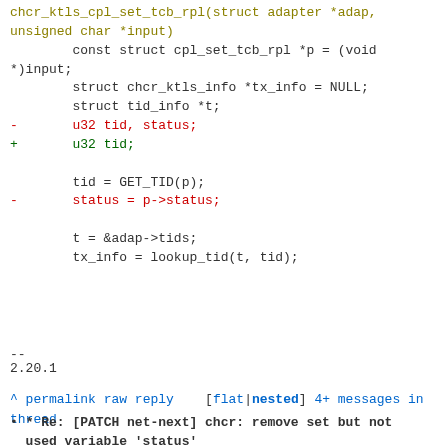chcr_ktls_cpl_set_tcb_rpl(struct adapter *adap, unsigned char *input)
        const struct cpl_set_tcb_rpl *p = (void *)input;
        struct chcr_ktls_info *tx_info = NULL;
        struct tid_info *t;
-       u32 tid, status;
+       u32 tid;

        tid = GET_TID(p);
-       status = p->status;

        t = &adap->tids;
        tx_info = lookup_tid(t, tid);
--
2.20.1
^ permalink raw reply    [flat|nested] 4+ messages in thread
* Re: [PATCH net-next] chcr: remove set but not used variable 'status'
2020-03-14 10:51 YueHaibing
@ 2020-03-15 16:09 ` rohit maheshwari
  0 siblings, 0 replies; 4+ messages in thread
From: rohit maheshwari @ 2020-03-15 16:09 UTC
(permalink / raw)
To: YueHaibing, ayush.sawal, vinay.yadav,